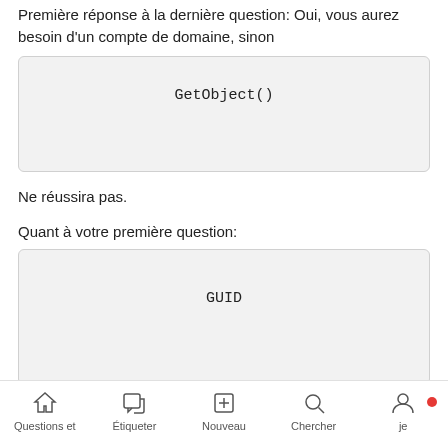Première réponse à la dernière question: Oui, vous aurez besoin d'un compte de domaine, sinon
[Figure (screenshot): Code box with GetObject() monospace text on light grey background]
Ne réussira pas.
Quant à votre première question:
[Figure (screenshot): Code box with GUID monospace text on light grey background]
La propriété renvoie la chaîne de valeurs hexadécimales ordonnées conformément à http://msdn.microsoft.com/en-u ... .aspx
Questions et   Étiqueter   Nouveau   Chercher   je